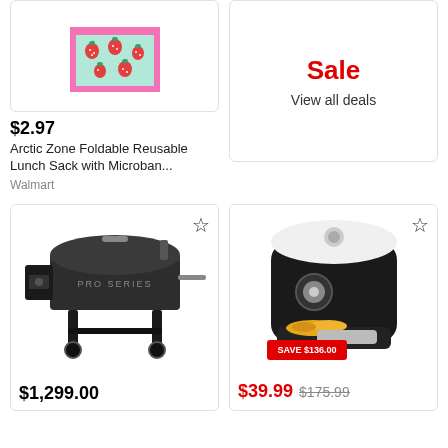[Figure (photo): Arctic Zone Foldable Reusable Lunch Sack with strawberry pattern, pink and mint color]
$2.97
Arctic Zone Foldable Reusable Lunch Sack with Microban...
Walmart
Sale
View all deals
[Figure (photo): Pro Series pellet grill/smoker, black, with legs and wheels]
$1,299.00
[Figure (photo): Black air fryer with white lid, with a basket of food visible, SAVE $136.00 badge]
$39.99
$175.99